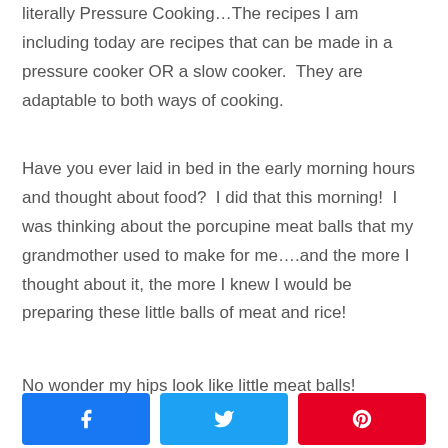literally Pressure Cooking…The recipes I am including today are recipes that can be made in a pressure cooker OR a slow cooker.  They are adaptable to both ways of cooking.
Have you ever laid in bed in the early morning hours and thought about food?  I did that this morning!  I was thinking about the porcupine meat balls that my grandmother used to make for me….and the more I thought about it, the more I knew I would be preparing these little balls of meat and rice!
No wonder my hips look like little meat balls!
[Figure (infographic): Three social share buttons: Facebook (blue), Twitter (light blue), Pinterest (red), each with their respective icon]